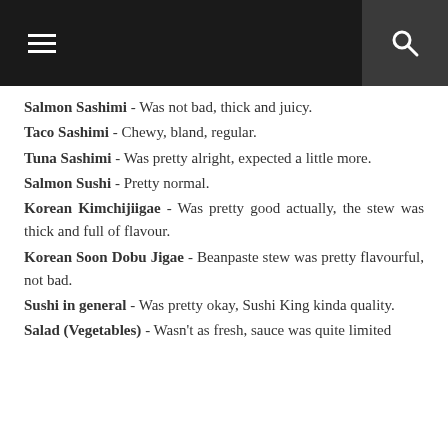Navigation bar with hamburger menu and search icon
Salmon Sashimi - Was not bad, thick and juicy.
Taco Sashimi - Chewy, bland, regular.
Tuna Sashimi - Was pretty alright, expected a little more.
Salmon Sushi - Pretty normal.
Korean Kimchijiigae - Was pretty good actually, the stew was thick and full of flavour.
Korean Soon Dobu Jigae - Beanpaste stew was pretty flavourful, not bad.
Sushi in general - Was pretty okay, Sushi King kinda quality.
Salad (Vegetables) - Wasn't as fresh, sauce was quite limited